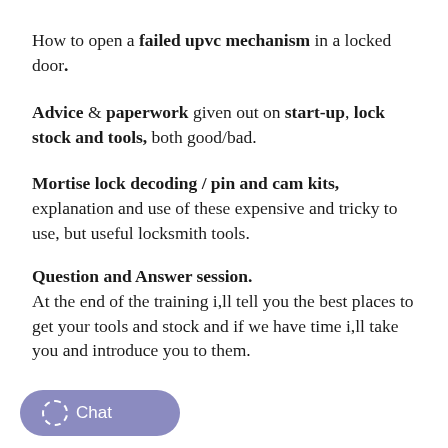How to open a failed upvc mechanism in a locked door.
Advice & paperwork given out on start-up, lock stock and tools, both good/bad.
Mortise lock decoding / pin and cam kits, explanation and use of these expensive and tricky to use, but useful locksmith tools.
Question and Answer session.
At the end of the training i,ll tell you the best places to get your tools and stock and if we have time i,ll take you and introduce you to them.